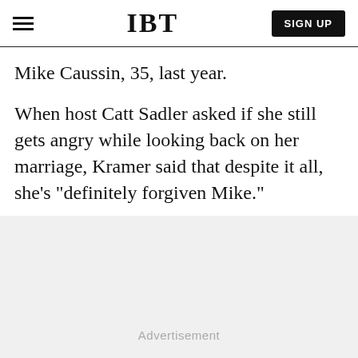IBT
Mike Caussin, 35, last year.
When host Catt Sadler asked if she still gets angry while looking back on her marriage, Kramer said that despite it all, she's "definitely forgiven Mike."
Advertisement